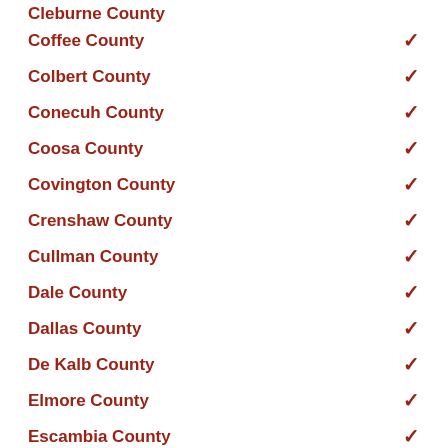Cleburne County
Coffee County
Colbert County
Conecuh County
Coosa County
Covington County
Crenshaw County
Cullman County
Dale County
Dallas County
De Kalb County
Elmore County
Escambia County